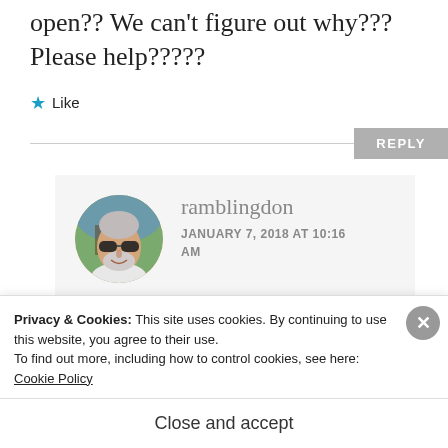open?? We can't figure out why??? Please help?????
★ Like
REPLY
[Figure (photo): Round avatar photo of a middle-aged man with white beard wearing sunglasses, outdoors with trees in background]
ramblingdon
JANUARY 7, 2018 AT 10:16 AM
Privacy & Cookies: This site uses cookies. By continuing to use this website, you agree to their use.
To find out more, including how to control cookies, see here: Cookie Policy
Close and accept